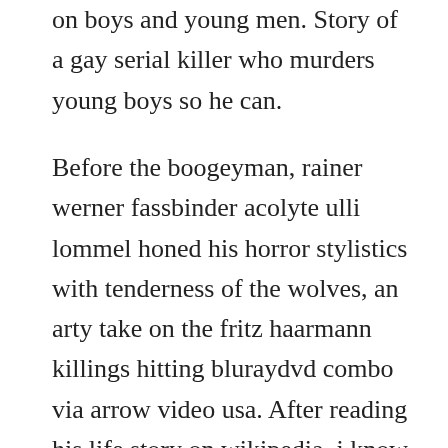on boys and young men. Story of a gay serial killer who murders young boys so he can.
Before the boogeyman, rainer werner fassbinder acolyte ulli lommel honed his horror stylistics with tenderness of the wolves, an arty take on the fritz haarmann killings hitting bluraydvd combo via arrow video usa. After reading his life story on wikipedia, i know see that the movie does follow fairly close to what happened back then, which is incredibly dark and disturbing if you like to know more, check out the wiki page. The